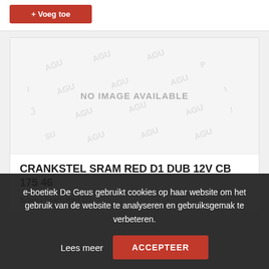[Figure (other): Product image placeholder with AGU watermark pattern and 'NO IMAGE AVAILABLE' text]
CRANKSTEL SRAM RED D1 DUB 12V CB 175 46
Sram | Sram Red D1
e-boetiek De Geus gebruikt cookies op haar website om het gebruik van de website te analyseren en gebruiksgemak te verbeteren.
Lees meer
ACCEPTEER